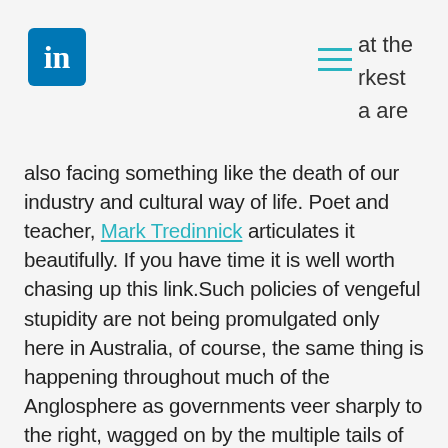LinkedIn header with logo and navigation
at the rkest a are also facing something like the death of our industry and cultural way of life. Poet and teacher, Mark Tredinnick articulates it beautifully. If you have time it is well worth chasing up this link.Such policies of vengeful stupidity are not being promulgated only here in Australia, of course, the same thing is happening throughout much of the Anglosphere as governments veer sharply to the right, wagged on by the multiple tails of 30 years of neoliberal propaganda.  I read in a recent New Yorker review by Alex Ross that 'there is an extinction process going on at the moment, the death of the performing